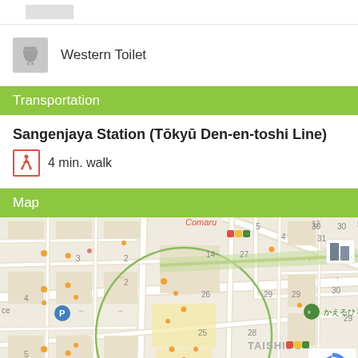[Figure (other): Small grey strip icon at top]
Western Toilet
Transportation
Sangenjaya Station (Tōkyū Den-en-toshi Line)
4 min. walk
Map
[Figure (map): Street map of Taishido area near Sangenjaya Station, Tokyo, with a circular highlight radius around a central point. Shows street numbers, landmarks including かえるひろば公園, TAISHIDO label, parking icon, and various colored dots. Google Maps style.]